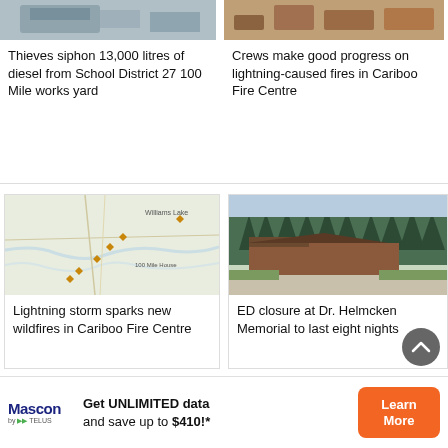[Figure (photo): Partial photo of a vehicle/postal truck, clipped at top]
Thieves siphon 13,000 litres of diesel from School District 27 100 Mile works yard
[Figure (photo): Partial photo of burned/scorched ground or forest debris, clipped at top]
Crews make good progress on lightning-caused fires in Cariboo Fire Centre
[Figure (map): Map showing Williams Lake and 100 Mile House area with orange diamond markers indicating wildfire locations]
Lightning storm sparks new wildfires in Cariboo Fire Centre
[Figure (photo): Photo of Dr. Helmcken Memorial building with trees in background]
ED closure at Dr. Helmcken Memorial to last eight nights
Get UNLIMITED data and save up to $410!*